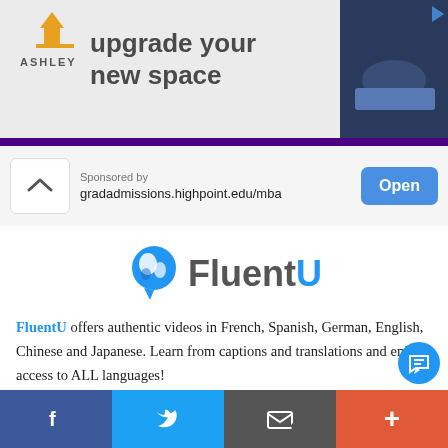[Figure (screenshot): Ashley Furniture advertisement banner showing 'upgrade your new space' text with sofa image and shop now button]
Sponsored by
gradadmissions.highpoint.edu/mba
[Figure (logo): FluentU logo with globe/speech bubble icon and stylized FluentU wordmark]
FluentU offers authentic videos in French, Spanish, German, English, Chinese and Japanese. Learn from captions and translations and enjoy access to ALL languages!
[Figure (infographic): Social share bar with Facebook, Twitter, Email/newsletter, and plus buttons]